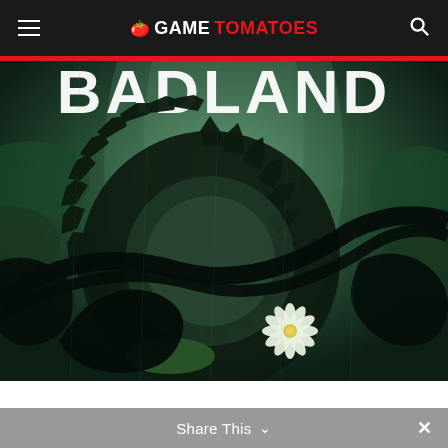GAME TOMATOES
[Figure (screenshot): Game art for BADLAND showing silhouetted creatures against a dark green jungle swamp background with a large circular saw blade, lily pads, and a white water lily flower. Bold white 'BADLAND' text visible at top.]
Share This ∨  ✕